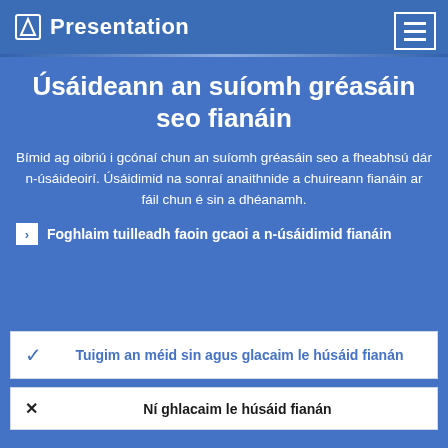Presentation
Úsáideann an suíomh gréasáin seo fianáin
Bímid ag oibriú i gcónaí chun an suíomh gréasáin seo a fheabhsú dár n-úsáideoirí. Úsáidimid na sonraí anaithnide a chuireann fianáin ar fáil chun é sin a dhéanamh.
Foghlaim tuilleadh faoin gcaoi a n-úsáidimid fianáin
Tuigim an méid sin agus glacaim le húsáid fianán
Ní ghlacaim le húsáid fianán